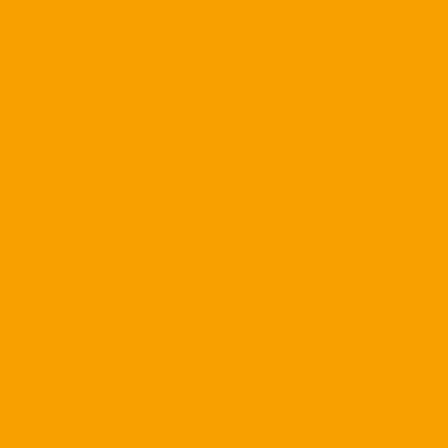[Figure (screenshot): Blog/forum comment section with orange sidebar on the left and white content area on the right showing three user posts with avatars and text]
Posted by: UMike | February 06, 20...
[Figure (illustration): User avatar: blue wavy lines pattern]
Dude i am just stating whats politics just what should be d... elected officials.
Posted by: VA Cane | February 06,...
[Figure (illustration): User avatar: orange geometric/network lines pattern]
VA Cane U are Preaching to Weed Guy last year. They wo... left.
Posted by: Terrance Sullivan | Feb...
[Figure (photo): User avatar: photo of two people outdoors]
After reading Tony's list of cu... we are still 2-3 years away fr...
10 wins this year.
Top 15 recruiting class next y...
Then we can have a convers... I see some talent, but not do...